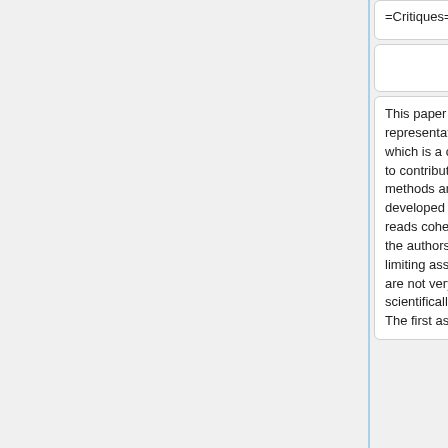=Critiques=
=Critiques=
This paper works on representational disparity which is a critical problem to contribute to. The methods are well developed and the paper reads coherently. However, the authors have several limiting assumptions that are not very intuitive or scientifically suggestive. The first assumption
This paper works on representational disparity which is a critical problem to contribute to. The methods are well developed and the paper reads coherently. However, the authors have several limiting assumptions that are not very intuitive or scientifically suggestive. The first assumption